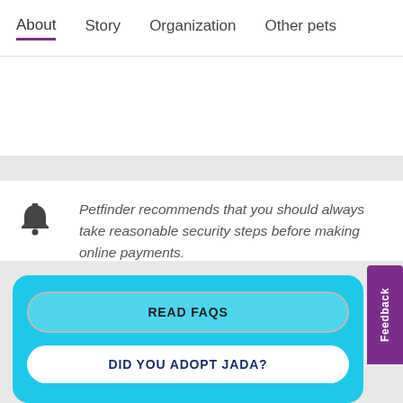About  Story  Organization  Other pets
Petfinder recommends that you should always take reasonable security steps before making online payments.
READ FAQS
DID YOU ADOPT JADA?
Feedback